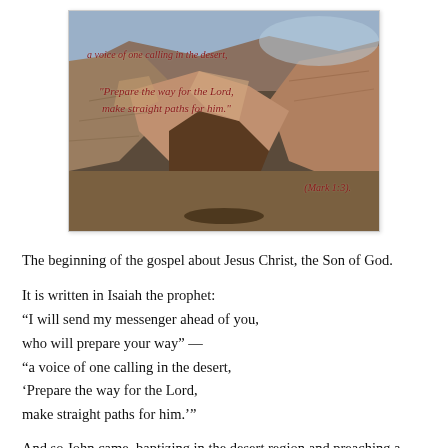[Figure (photo): Photo of a desert canyon (likely Judean wilderness) with red italic text overlaid: 'a voice of one calling in the desert,' and '"Prepare the way for the Lord, make straight paths for him."' and '(Mark 1:3).']
The beginning of the gospel about Jesus Christ, the Son of God.
It is written in Isaiah the prophet:
“I will send my messenger ahead of you,
who will prepare your way” —
“a voice of one calling in the desert,
‘Prepare the way for the Lord,
make straight paths for him.’”
And so John came, baptizing in the desert region and preaching a